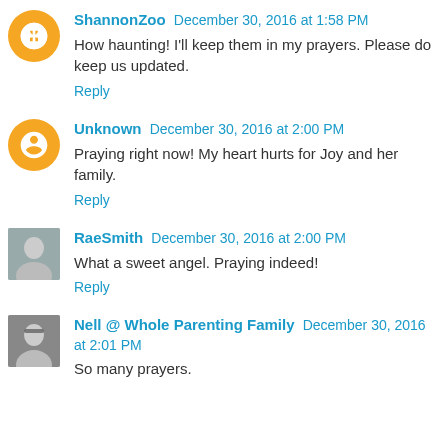ShannonZoo December 30, 2016 at 1:58 PM
How haunting! I'll keep them in my prayers. Please do keep us updated.
Reply
Unknown December 30, 2016 at 2:00 PM
Praying right now! My heart hurts for Joy and her family.
Reply
RaeSmith December 30, 2016 at 2:00 PM
What a sweet angel. Praying indeed!
Reply
Nell @ Whole Parenting Family December 30, 2016 at 2:01 PM
So many prayers.